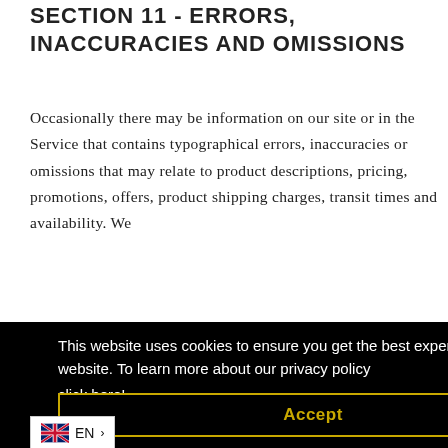SECTION 11 - ERRORS, INACCURACIES AND OMISSIONS
Occasionally there may be information on our site or in the Service that contains typographical errors, inaccuracies or omissions that may relate to product descriptions, pricing, promotions, offers, product shipping charges, transit times and availability. We
[Figure (other): Cookie consent overlay banner with black background. Text reads: 'This website uses cookies to ensure you get the best experience on our website. To learn more about our privacy policy click here!' with an Accept button styled with yellow border and yellow text.]
including without limitation, pricing